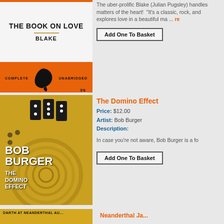[Figure (illustration): Book cover for 'The Book on Love' by Blake — white background with bold title text and an orange section at bottom with a bird silhouette. Labels: COMPLETE UNABRIDGED, 3'6]
The uber-prolific Blake (Julian Pugsley) handles matters of the heart! "It's a classic, rock, and explores love in a beautiful ma ... re
Add One To Basket
[Figure (illustration): Album cover for 'The Domino Effect' by Bob Burger — gold/brown tones with spiraling dominos pattern, white text with artist name BOB BURGER and album title THE DOMINO EFFECT]
The Domino Effect
Price: $12.00
Artist: Bob Burger
Description:
In case you're not aware, Bob Burger is a fo
Add One To Basket
Neanderthal Ja...